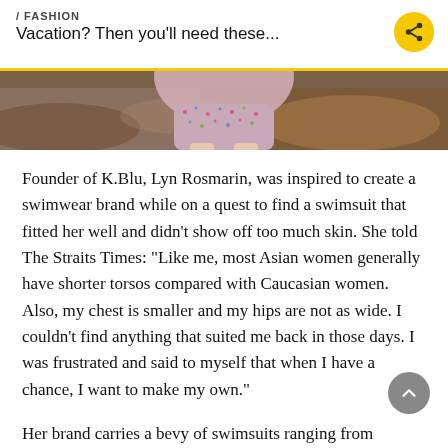/ FASHION
Vacation? Then you'll need these...
[Figure (photo): Cropped photo of a person wearing a patterned bikini bottom, standing on rocky terrain with a beach/outdoor background.]
Founder of K.Blu, Lyn Rosmarin, was inspired to create a swimwear brand while on a quest to find a swimsuit that fitted her well and didn’t show off too much skin. She told The Straits Times: “Like me, most Asian women generally have shorter torsos compared with Caucasian women. Also, my chest is smaller and my hips are not as wide. I couldn’t find anything that suited me back in those days. I was frustrated and said to myself that when I have a chance, I want to make my own.”
Her brand carries a bevy of swimsuits ranging from modest one-piece suits to bohemian-style bikinis. The